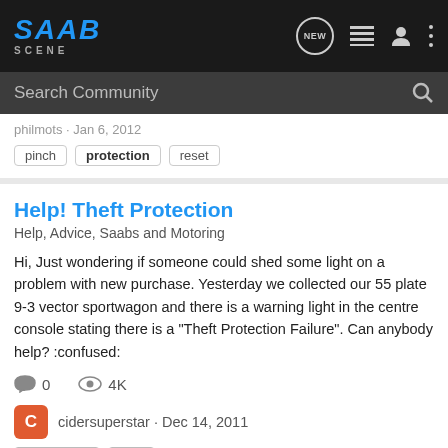SAAB SCENE
philmots · Jan 6, 2012
pinch  protection  reset
Help! Theft Protection
Help, Advice, Saabs and Motoring
Hi, Just wondering if someone could shed some light on a problem with new purchase. Yesterday we collected our 55 plate 9-3 vector sportwagon and there is a warning light in the centre console stating there is a "Theft Protection Failure". Can anybody help? :confused:
0  4K
cidersuperstar · Dec 14, 2011
protection  theft